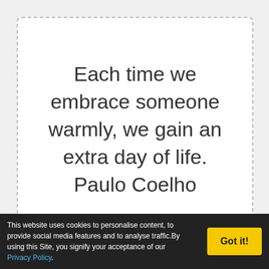Each time we embrace someone warmly, we gain an extra day of life. Paulo Coelho
Stop being yourself and
This website uses cookies to personalise content, to provide social media features and to analyse traffic.By using this Site, you signify your acceptance of our Privacy Policy.